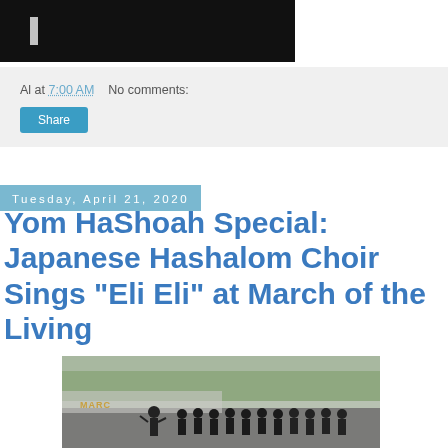[Figure (photo): Dark background photo of a person, partially visible at the top of the page]
Al at 7:00 AM    No comments:
Share
Tuesday, April 21, 2020
Yom HaShoah Special: Japanese Hashalom Choir Sings "Eli Eli" at March of the Living
[Figure (photo): Photo of a choir group in black formal attire performing outdoors at the March of the Living, with a conductor in front and a banner reading MARCH in the background]